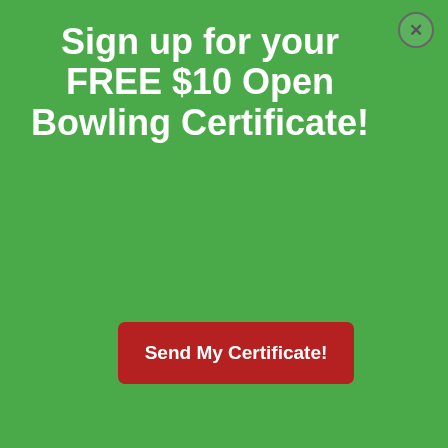Sign up for your FREE $10 Open Bowling Certificate!
Send My Certificate!
by the website itself for product design or solicitation purposes.
INFORMATION OBTAINED FROM ELECTRONIC MEANS AND "COOKIES"
Many websites, including this one, collect information about your computer and your IP address. You must assume that your web-viewing or web-use activity is monitored, tracked, and information